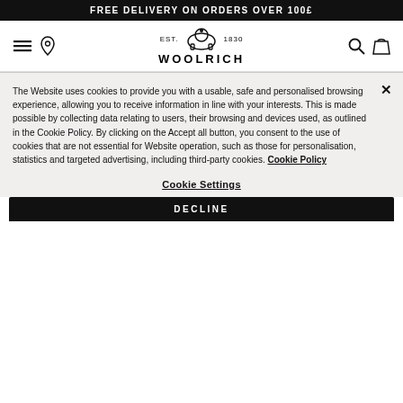FREE DELIVERY ON ORDERS OVER 100£
[Figure (logo): Woolrich logo with sheep icon, EST. 1830]
The Website uses cookies to provide you with a usable, safe and personalised browsing experience, allowing you to receive information in line with your interests. This is made possible by collecting data relating to users, their browsing and devices used, as outlined in the Cookie Policy. By clicking on the Accept all button, you consent to the use of cookies that are not essential for Website operation, such as those for personalisation, statistics and targeted advertising, including third-party cookies. Cookie Policy
Cookie Settings
DECLINE